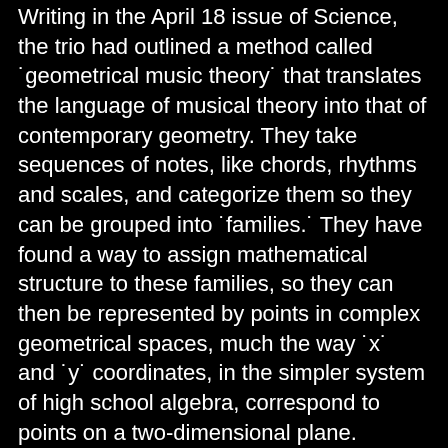Writing in the April 18 issue of Science, the trio had outlined a method called 'geometrical music theory' that translates the language of musical theory into that of contemporary geometry. They take sequences of notes, like chords, rhythms and scales, and categorize them so they can be grouped into 'families.' They have found a way to assign mathematical structure to these families, so they can then be represented by points in complex geometrical spaces, much the way 'x' and 'y' coordinates, in the simpler system of high school algebra, correspond to points on a two-dimensional plane.
Different types of categorization produce different geometrical spaces, and reflect the different ways in which musicians over the centuries have understood music. This achievement, they expect, will allow researchers to analyze and understand music in much deeper and more satisfying ways.
The work represents a significant departure from